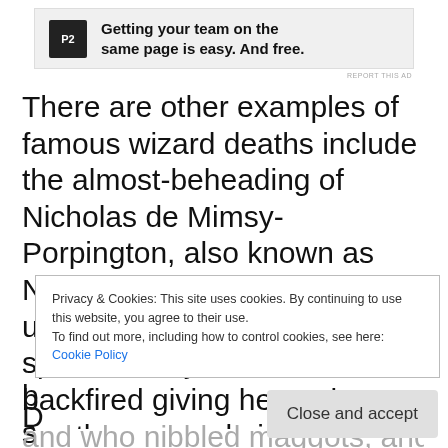[Figure (other): P2 advertisement banner with logo and text: Getting your team on the same page is easy. And free.]
REPORT THIS AD
There are other examples of famous wizard deaths include the almost-beheading of Nicholas de Mimsy-Porpington, also known as Nearly-Headless Nick, for using a teeth-straightening spell on Lady Grieve that backfired giving her tusks. Another example is Lisette de Lapin who was sentenced to death,
Privacy & Cookies: This site uses cookies. By continuing to use this website, you agree to their use.
To find out more, including how to control cookies, see here: Cookie Policy